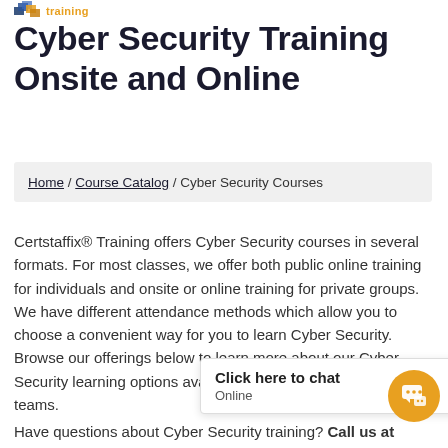training
Cyber Security Training Onsite and Online
Home / Course Catalog / Cyber Security Courses
Certstaffix® Training offers Cyber Security courses in several formats. For most classes, we offer both public online training for individuals and onsite or online training for private groups. We have different attendance methods which allow you to choose a convenient way for you to learn Cyber Security. Browse our offerings below to learn more about our Cyber Security learning options available for individuals or corporate teams.
Click here to chat
Online
Have questions about Cyber Security training? Call us at